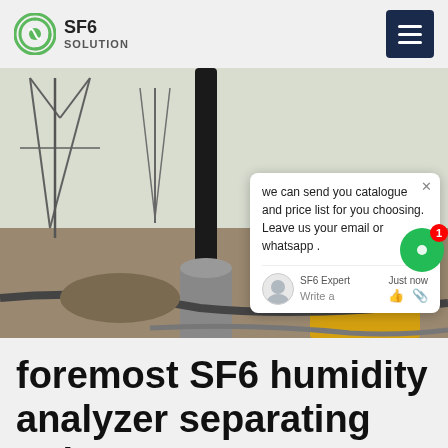SF6 SOLUTION
[Figure (photo): Industrial electrical substation with high-voltage power lines, transformers, and SF6 gas handling equipment (yellow unit) in a field setting. A chat popup overlay is visible on the right side of the image.]
foremost SF6 humidity analyzer separating unit